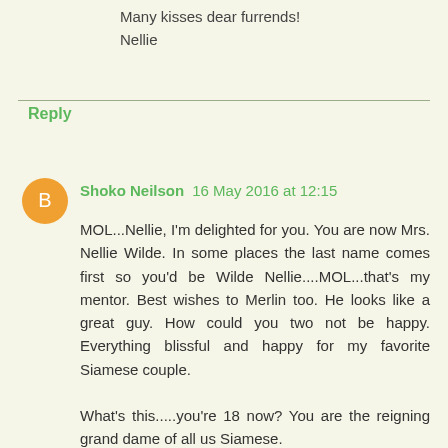Many kisses dear furrends!
Nellie
Reply
Shoko Neilson 16 May 2016 at 12:15
MOL...Nellie, I'm delighted for you. You are now Mrs. Nellie Wilde. In some places the last name comes first so you'd be Wilde Nellie....MOL...that's my mentor. Best wishes to Merlin too. He looks like a great guy. How could you two not be happy. Everything blissful and happy for my favorite Siamese couple.

What's this.....you're 18 now? You are the reigning grand dame of all us Siamese.

Loves ya,

Shoko and Kali